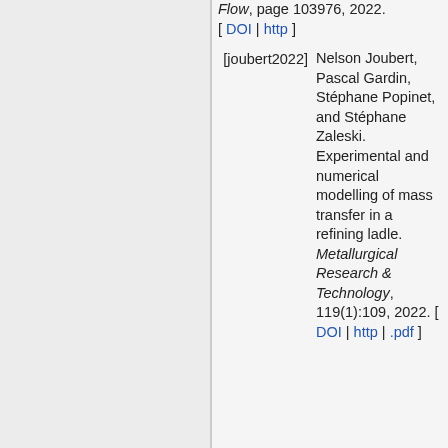Flow, page 103976, 2022. [ DOI | http ]
[joubert2022] Nelson Joubert, Pascal Gardin, Stéphane Popinet, and Stéphane Zaleski. Experimental and numerical modelling of mass transfer in a refining ladle. Metallurgical Research & Technology, 119(1):109, 2022. [ DOI | http | .pdf ]